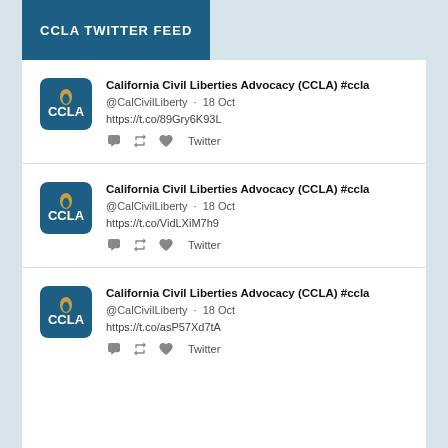CCLA TWITTER FEED
California Civil Liberties Advocacy (CCLA) #ccla
@CalCivilLiberty · 18 Oct
https://t.co/89Gry6K93L
Twitter
California Civil Liberties Advocacy (CCLA) #ccla
@CalCivilLiberty · 18 Oct
https://t.co/VidLXiM7h9
Twitter
California Civil Liberties Advocacy (CCLA) #ccla
@CalCivilLiberty · 18 Oct
https://t.co/asP57Xd7tA
Twitter